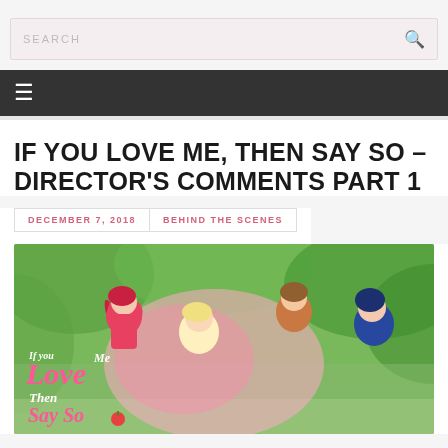SEARCH
IF YOU LOVE ME, THEN SAY SO – DIRECTOR'S COMMENTS PART 1
DECEMBER 7, 2018 | BEHIND THE SCENES
[Figure (illustration): Anime-style promotional art for 'If You Love Me, Then Say So' visual novel featuring several anime girl characters in colorful outfits against a green outdoor background, with the game logo overlaid in pink and white text.]